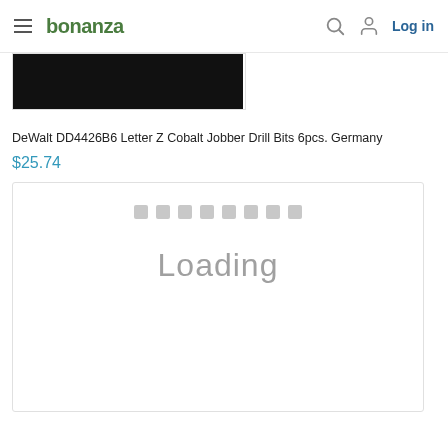bonanza | Log in
[Figure (screenshot): Product image thumbnail - black rectangle representing a product photo]
DeWalt DD4426B6 Letter Z Cobalt Jobber Drill Bits 6pcs. Germany
$25.74
[Figure (screenshot): Loading indicator with 8 small grey squares and the text 'Loading' centered on a white card]